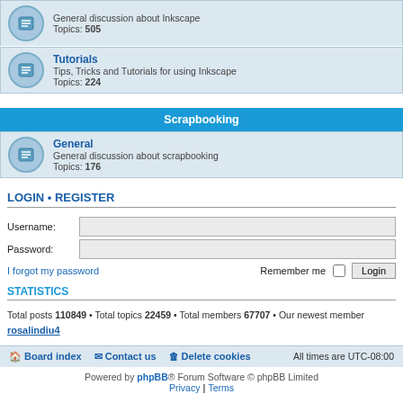General discussion about Inkscape
Topics: 505
Tutorials
Tips, Tricks and Tutorials for using Inkscape
Topics: 224
Scrapbooking
General
General discussion about scrapbooking
Topics: 176
LOGIN • REGISTER
Username:
Password:
I forgot my password
Remember me
Login
STATISTICS
Total posts 110849 • Total topics 22459 • Total members 67707 • Our newest member rosalindiu4
Board index  Contact us  Delete cookies  All times are UTC-08:00
Powered by phpBB® Forum Software © phpBB Limited
Privacy | Terms